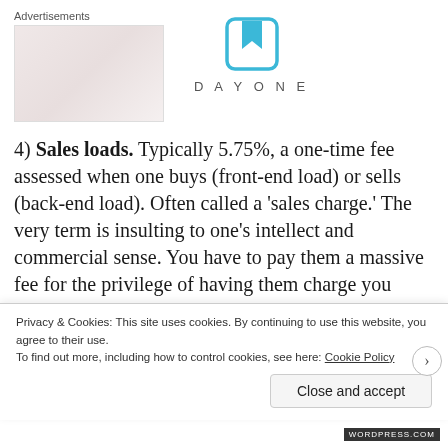[Figure (other): Advertisement placeholder image - light pink/beige gradient rectangle, and DayOne app logo with bookmark icon]
4) Sales loads. Typically 5.75%, a one-time fee assessed when one buys (front-end load) or sells (back-end load). Often called a 'sales charge.' The very term is insulting to one's intellect and commercial sense. You have to pay them a massive fee for the privilege of having them charge you further
Privacy & Cookies: This site uses cookies. By continuing to use this website, you agree to their use.
To find out more, including how to control cookies, see here: Cookie Policy
Close and accept